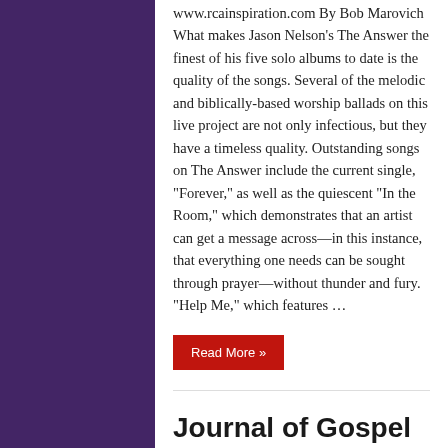www.rcainspiration.com By Bob Marovich What makes Jason Nelson's The Answer the finest of his five solo albums to date is the quality of the songs. Several of the melodic and biblically-based worship ballads on this live project are not only infectious, but they have a timeless quality. Outstanding songs on The Answer include the current single, “Forever,” as well as the quiescent “In the Room,” which demonstrates that an artist can get a message across—in this instance, that everything one needs can be sought through prayer—without thunder and fury. “Help Me,” which features …
Read More »
Journal of Gospel Music’s Best of 2016 Lists
January 7, 2017  Breaking News, Gospel Music
Comments 25  1,529 Views